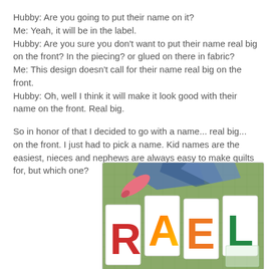Hubby:  Are you going to put their name on it?
Me: Yeah, it will be in the label.
Hubby: Are you sure you don't want to put their name real big on the front? In the piecing? or glued on there in fabric?
Me: This design doesn't call for their name real big on the front.
Hubby: Oh, well I think it will make it look good with their name on the front.  Real big.

So in honor of that I decided to go with a name...  real big... on the front.  I just had to pick a name.  Kid names are the easiest, nieces and nephews are always easy to make quilts for, but which one?
[Figure (photo): Photo of quilt letter blocks spelling RAEL on a green cutting mat, with fabric scraps and a pink rotary cutter handle visible. Letters are colorful (red R, orange/yellow A, orange E, green L) appliqued on white square fabric blocks.]